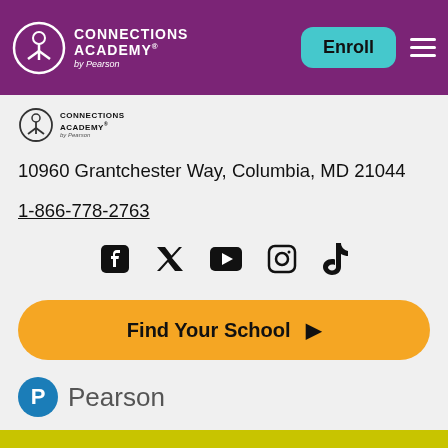[Figure (logo): Connections Academy by Pearson logo in white on purple header background]
Enroll
[Figure (logo): Connections Academy by Pearson small logo in black]
10960 Grantchester Way, Columbia, MD 21044
1-866-778-2763
[Figure (infographic): Social media icons: Facebook, Twitter, YouTube, Instagram, TikTok]
Find Your School ▶
[Figure (logo): Pearson logo - blue circle with P and Pearson text]
Request More Info
leading learning company